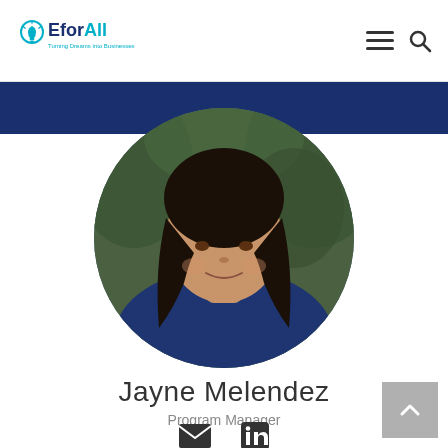EforAll — Turning Dreams into Businesses
[Figure (photo): Circular profile photo of Jayne Melendez, a woman with long dark hair wearing a navy blue top, photographed outdoors with green foliage in background]
Jayne Melendez
Program Manager
[Figure (infographic): Email icon (envelope) and LinkedIn icon for contact links]